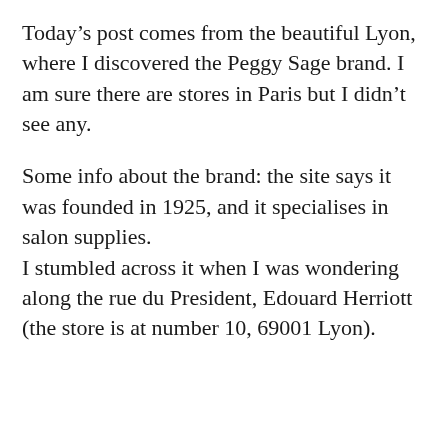Today's post comes from the beautiful Lyon, where I discovered the Peggy Sage brand. I am sure there are stores in Paris but I didn't see any.
Some info about the brand: the site says it was founded in 1925, and it specialises in salon supplies. I stumbled across it when I was wondering along the rue du President, Edouard Herriott (the store is at number 10, 69001 Lyon).